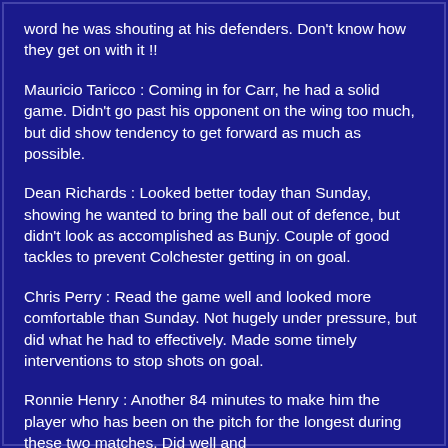word he was shouting at his defenders.  Don't know how they get on with it !!
Mauricio Taricco :  Coming in for Carr, he had a solid game.  Didn't go past his opponent on the wing too much, but did show tendency to get forward as much as possible.
Dean Richards :  Looked better today than Sunday, showing he wanted to bring the ball out of defence, but didn't look as accomplished as Bunjy.  Couple of good tackles to prevent Colchester getting in on goal.
Chris Perry :  Read the game well and looked more comfortable than Sunday.  Not hugely under pressure, but did what he had to effectively.  Made some timely interventions to stop shots on goal.
Ronnie Henry :  Another 84 minutes to make him the player who has been on the pitch for the longest during these two matches.  Did well and